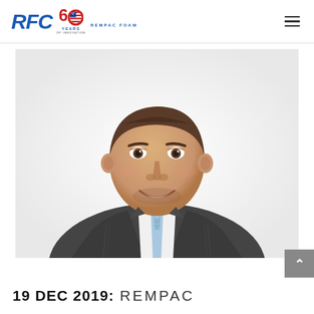RFC 60 YEARS REMPAC FOAM
[Figure (photo): Professional headshot of a man in a dark suit and light blue tie, smiling, white background]
19 DEC 2019: REMPAC